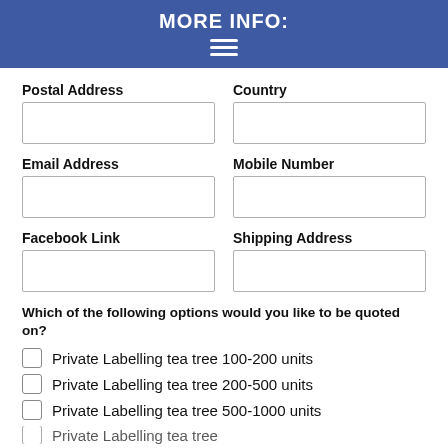MORE INFO:
Postal Address
Country
Email Address
Mobile Number
Facebook Link
Shipping Address
Which of the following options would you like to be quoted on?
Private Labelling tea tree 100-200 units
Private Labelling tea tree 200-500 units
Private Labelling tea tree 500-1000 units
Private Labelling tea tree 1000+ units (partially visible)